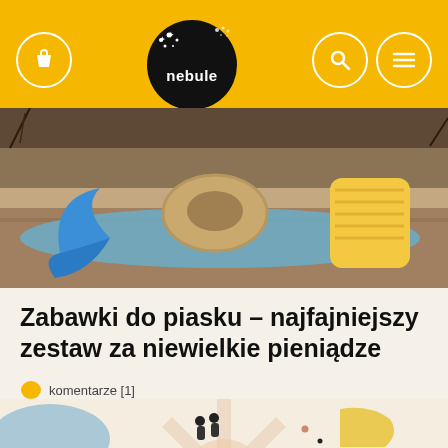[Figure (screenshot): Website header with yellow background, shopping bag icon on left, 'nebule' logo (black circle with stars) in center, search and hamburger menu icons on right]
[Figure (photo): Sand toys - blue croissant/crescent shaped toy, sand-molded donut shape, yellow toy on sandy surface]
Zabawki do piasku – najfajniejszy zestaw za niewielkie pieniądze
komentarze [1]
[Figure (illustration): Partial illustration at bottom showing figures with geometric/floral background in muted tones]